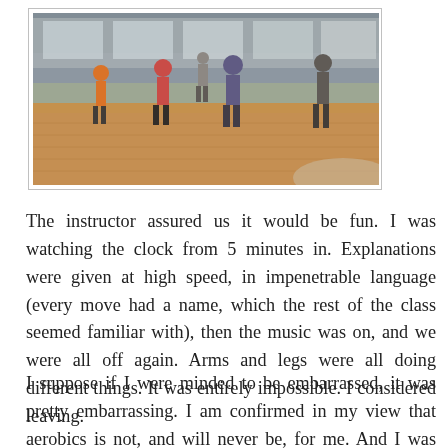[Figure (photo): Photograph of people doing aerobics/dance exercise in a gym with a wooden floor. Multiple participants visible, instructor at front, large windows in background.]
The instructor assured us it would be fun. I was watching the clock from 5 minutes in. Explanations were given at high speed, in impenetrable language (every move had a name, which the rest of the class seemed familiar with), then the music was on, and we were all off again. Arms and legs were all doing different things. It was entirely impossible. I considered leaving.
I suppose if I were minded to be embarrassed, it was pretty embarrassing. I am confirmed in my view that aerobics is not, and will never be, for me. And I was heartily glad that no one was there who I recognised. But I got through it, after a